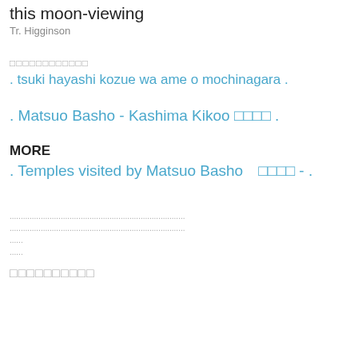this moon-viewing
Tr. Higginson
□□□□□□□□□□□□
. tsuki hayashi kozue wa ame o mochinagara .
. Matsuo Basho - Kashima Kikoo □□□□ .
MORE
. Temples visited by Matsuo Basho　□□□□ - .
...........................................................................
......
......
□□□□□□□□□□